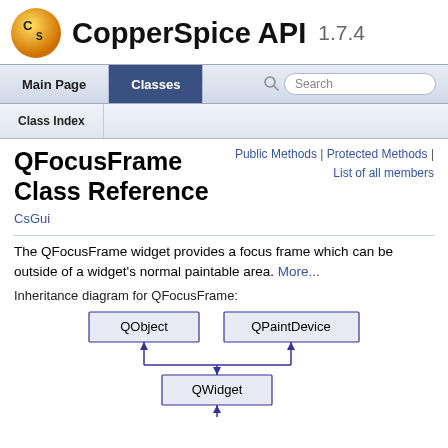CopperSpice API 1.7.4
QFocusFrame Class Reference
CsGui
Public Methods | Protected Methods | List of all members
The QFocusFrame widget provides a focus frame which can be outside of a widget's normal paintable area. More...
Inheritance diagram for QFocusFrame:
[Figure (flowchart): Inheritance diagram showing QObject and QPaintDevice as parent nodes, both with arrows pointing down to QWidget, which then has an arrow pointing down (continuing off page).]